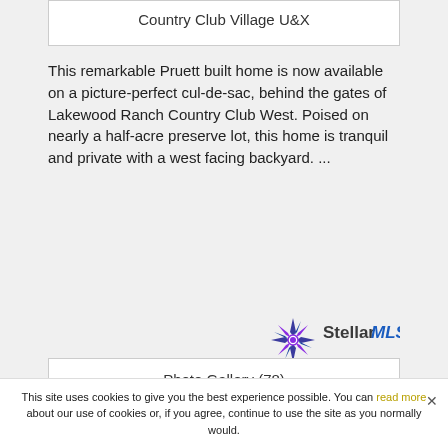Country Club Village U&X
This remarkable Pruett built home is now available on a picture-perfect cul-de-sac, behind the gates of Lakewood Ranch Country Club West. Poised on nearly a half-acre preserve lot, this home is tranquil and private with a west facing backyard. ...
[Figure (logo): Stellar MLS logo with star burst icon and stylized text]
Photo Gallery (78)
This site uses cookies to give you the best experience possible. You can read more about our use of cookies or, if you agree, continue to use the site as you normally would.